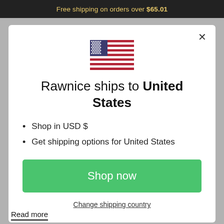Free shipping on orders over $65.01
[Figure (illustration): US flag icon centered in modal dialog]
Rawnice ships to United States
Shop in USD $
Get shipping options for United States
Shop now
Change shipping country
Read more